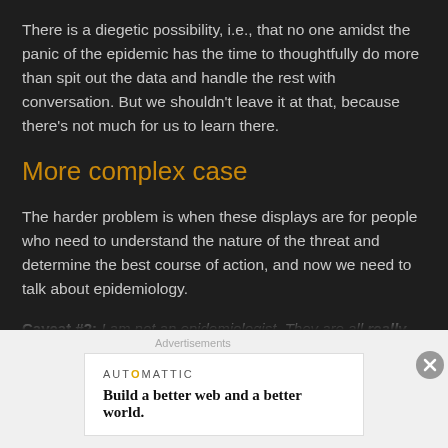There is a diegetic possibility, i.e., that no one amidst the panic of the epidemic has the time to thoughtfully do more than spit out the data and handle the rest with conversation. But we shouldn't leave it at that, because there's not much for us to learn there.
More complex case
The harder problem is when these displays are for people who need to understand the nature of the threat and determine the best course of action, and now we need to talk about epidemiology.
Caveat #2: I am not an epidemiologist. They are all really occupied for the foreseeable future, so I'm not even going to reach out and bother one of them to ask their opinions on this post. Like I said before about COVID-19, I really hope you don't come to sci-fi interfaces to become an expert in epidemiology. And, since I'm just Some Guy on the Internet Who Has Read Some Stuff on the Internet, you should take whatever you learn here with a grain of salt. If I get
Advertisements
[Figure (other): Automattic advertisement banner: 'Build a better web and a better world.']